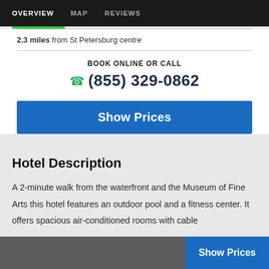OVERVIEW   MAP   REVIEWS
2.3 miles from St Petersburg centre
BOOK ONLINE OR CALL
(855) 329-0862
Show Prices
Hotel Description
A 2-minute walk from the waterfront and the Museum of Fine Arts this hotel features an outdoor pool and a fitness center. It offers spacious air-conditioned rooms with cable
Show Prices